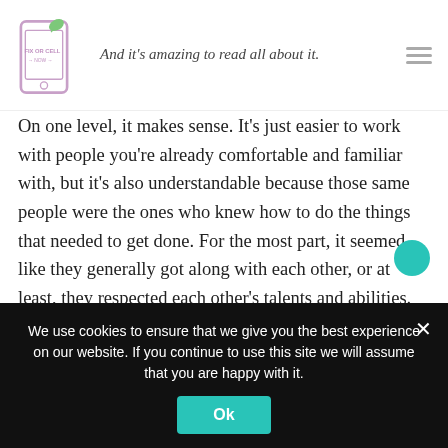And it's amazing to read all about it.
On one level, it makes sense. It's just easier to work with people you're already comfortable and familiar with, but it's also understandable because those same people were the ones who knew how to do the things that needed to get done. For the most part, it seemed like they generally got along with each other, or at least, they respected each other's talents and abilities. Stepping back a bit, I feel like that's how Android Central and our sister sites work and get along, so it was nice to see some parallel there between our team and the original Android team.
We use cookies to ensure that we give you the best experience on our website. If you continue to use this site we will assume that you are happy with it.